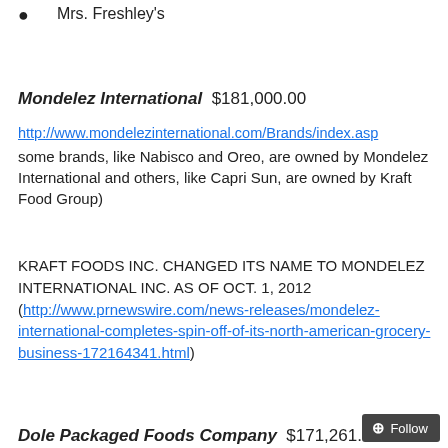Mrs. Freshley's
Mondelez International  $181,000.00
http://www.mondelezinternational.com/Brands/index.asp some brands, like Nabisco and Oreo, are owned by Mondelez International and others, like Capri Sun, are owned by Kraft Food Group)
KRAFT FOODS INC. CHANGED ITS NAME TO MONDELEZ INTERNATIONAL INC. AS OF OCT. 1, 2012 (http://www.prnewswire.com/news-releases/mondelez-international-completes-spin-off-of-its-north-american-grocery-business-172164341.html)
Dole Packaged Foods Company  $171,261.0...